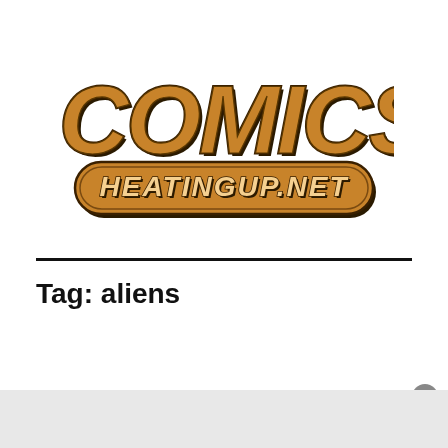[Figure (logo): Comics Heating Up .NET logo — large stylized block letters spelling COMICS in orange with dark brown/black outlines and shadow, above a pill-shaped badge reading HEATINGUP.NET in matching orange and dark lettering]
Tag: aliens